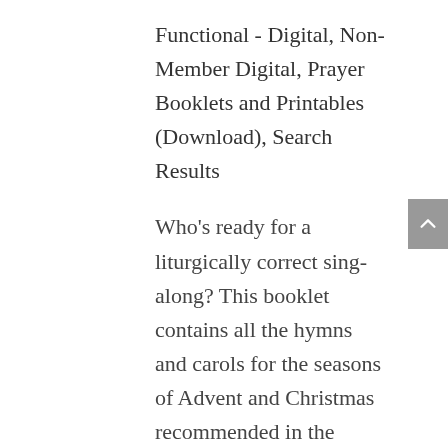Functional - Digital, Non-Member Digital, Prayer Booklets and Printables (Download), Search Results
Who's ready for a liturgically correct sing-along? This booklet contains all the hymns and carols for the seasons of Advent and Christmas recommended in the Catholic All Year Compendium, so it's easy to sing Advent songs during Advent and Christmas